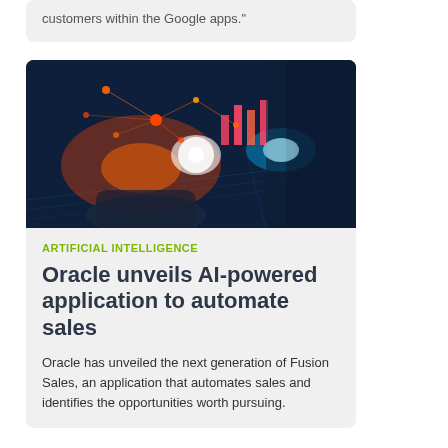customers within the Google apps."
[Figure (photo): Person in a suit touching a glowing digital data visualization with bar charts and network nodes floating above a surface, dark blue background with light effects]
ARTIFICIAL INTELLIGENCE
Oracle unveils AI-powered application to automate sales
Oracle has unveiled the next generation of Fusion Sales, an application that automates sales and identifies the opportunities worth pursuing.